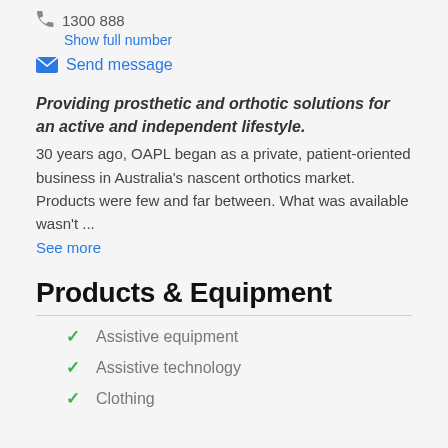1300 888
Show full number
Send message
Providing prosthetic and orthotic solutions for an active and independent lifestyle.
30 years ago, OAPL began as a private, patient-oriented business in Australia's nascent orthotics market. Products were few and far between. What was available wasn't ...
See more
Products & Equipment
Assistive equipment
Assistive technology
Clothing